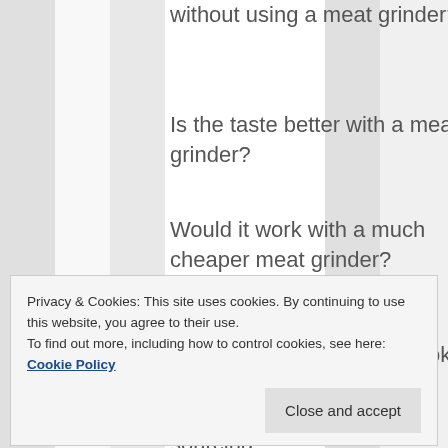without using a meat grinder?
Is the taste better with a meat grinder?
Would it work with a much cheaper meat grinder?
About the beef itself – is it ok to eat 28 day aged beef? I think I would find it difficult sourcing
Privacy & Cookies: This site uses cookies. By continuing to use this website, you agree to their use.
To find out more, including how to control cookies, see here: Cookie Policy